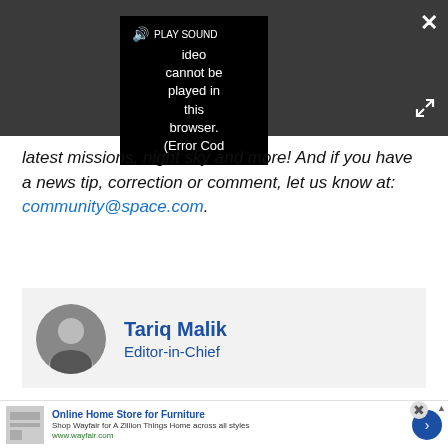[Figure (screenshot): Video player with error message overlay showing 'PLAY SOUND Video cannot be played in this browser. (Error Cod' on dark background with close and expand buttons]
latest missions, night sky and more! And if you have a news tip, correction or comment, let us know at: community@space.com.
[Figure (photo): Author photo of Tariq Malik, editor-in-chief, circular headshot]
Tariq Malik
Editor-in-Chief
[Figure (screenshot): Advertisement for Wayfair Online Home Store for Furniture with product image and arrow button]